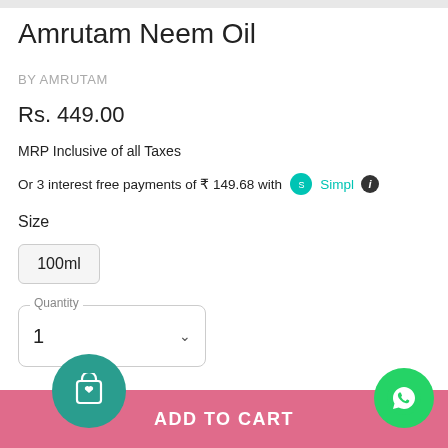Amrutam Neem Oil
BY AMRUTAM
Rs. 449.00
MRP Inclusive of all Taxes
Or 3 interest free payments of ₹ 149.68 with Simpl
Size
100ml
Quantity 1
ADD TO CART